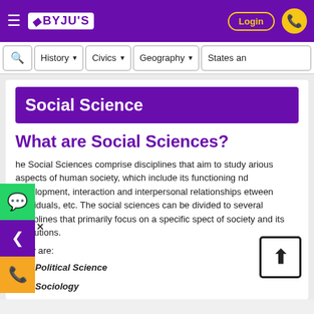BYJU'S — Login
History | Civics | Geography | States an...
Social Science
What are Social Sciences?
The Social Sciences comprise disciplines that aim to study various aspects of human society, which include its functioning and development, interaction and interpersonal relationships between individuals, etc. The social sciences can be divided into several disciplines that primarily focus on a specific aspect of society and its institutions.
They are:
Political Science
Sociology